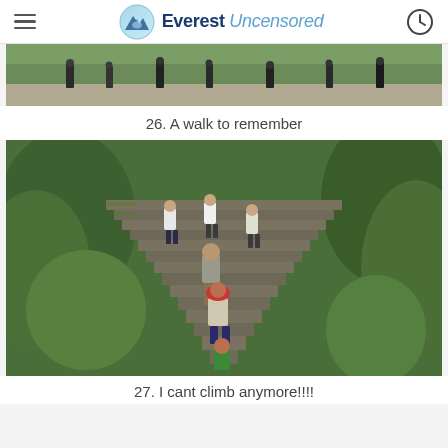Everest Uncensored
[Figure (photo): People walking on a path with greenery, partial view cropped at top]
26. A walk to remember
[Figure (photo): People climbing large moss-covered stone stairs surrounded by lush green trees and vegetation]
27. I cant climb anymore!!!!